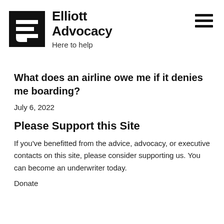Elliott Advocacy — Here to help
What does an airline owe me if it denies me boarding?
July 6, 2022
Please Support this Site
If you've benefitted from the advice, advocacy, or executive contacts on this site, please consider supporting us. You can become an underwriter today.
Donate